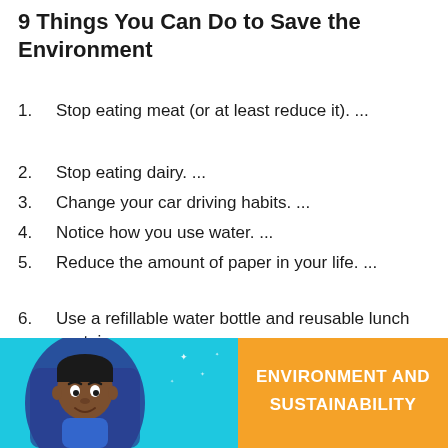9 Things You Can Do to Save the Environment
Stop eating meat (or at least reduce it). ...
Stop eating dairy. ...
Change your car driving habits. ...
Notice how you use water. ...
Reduce the amount of paper in your life. ...
Use a refillable water bottle and reusable lunch containers. ...
Be mindful of what you throw in the trash.
[Figure (illustration): Educational banner illustration showing a cartoon child character on a cyan/teal background with an orange panel on the right displaying 'ENVIRONMENT AND SUSTAINABILITY' text in white bold uppercase letters.]